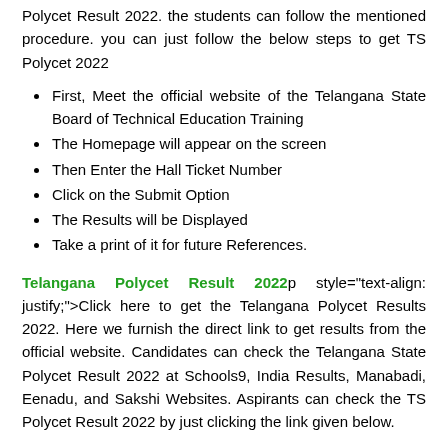Polycet Result 2022. the students can follow the mentioned procedure. you can just follow the below steps to get TS Polycet 2022
First, Meet the official website of the Telangana State Board of Technical Education Training
The Homepage will appear on the screen
Then Enter the Hall Ticket Number
Click on the Submit Option
The Results will be Displayed
Take a print of it for future References.
Telangana Polycet Result 2022p style="text-align: justify;">Click here to get the Telangana Polycet Results 2022. Here we furnish the direct link to get results from the official website. Candidates can check the Telangana State Polycet Result 2022 at Schools9, India Results, Manabadi, Eenadu, and Sakshi Websites. Aspirants can check the TS Polycet Result 2022 by just clicking the link given below.